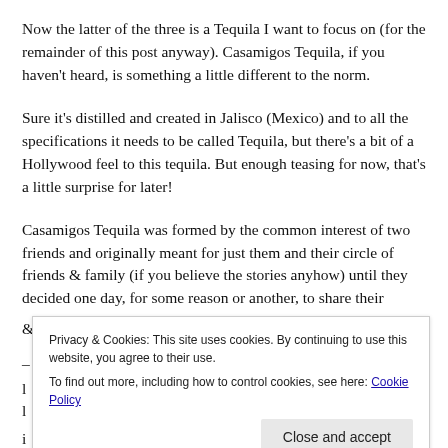Now the latter of the three is a Tequila I want to focus on (for the remainder of this post anyway). Casamigos Tequila, if you haven't heard, is something a little different to the norm.
Sure it's distilled and created in Jalisco (Mexico) and to all the specifications it needs to be called Tequila, but there's a bit of a Hollywood feel to this tequila. But enough teasing for now, that's a little surprise for later!
Casamigos Tequila was formed by the common interest of two friends and originally meant for just them and their circle of friends & family (if you believe the stories anyhow) until they decided one day, for some reason or another, to share their
Privacy & Cookies: This site uses cookies. By continuing to use this website, you agree to their use.
To find out more, including how to control cookies, see here: Cookie Policy
Close and accept